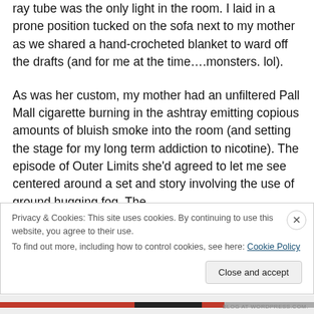ray tube was the only light in the room.  I laid in a prone position tucked on the sofa next to my mother as we shared a hand-crocheted blanket to ward off the drafts (and for me at the time….monsters.  lol).

As was her custom, my mother had an unfiltered Pall Mall cigarette burning in the ashtray emitting copious amounts of bluish smoke into the room (and setting the stage for my long term addiction to nicotine).  The episode of Outer Limits she'd agreed to let me see centered around a set and story involving the use of ground hugging fog.  The
Privacy & Cookies: This site uses cookies. By continuing to use this website, you agree to their use.
To find out more, including how to control cookies, see here: Cookie Policy
Close and accept